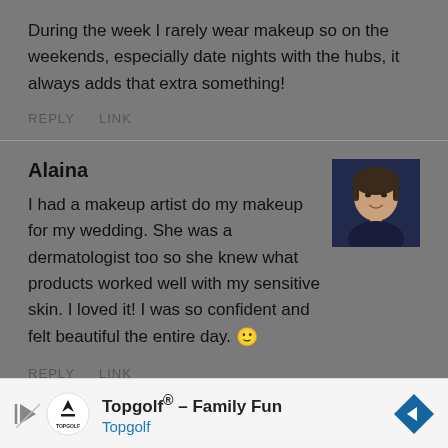During the week I rarely wear makeup so on the weekends, especially date nights with the hubs, it always adds that extra something!
REPLY   LINK
Alaina
[Figure (photo): Profile photo of Alaina, a woman smiling against a dark background]
I had a makeup artist do my makeup for my wedding. She was a dermatologist too so she knew what products worked well with my sensitive skin. I loved it! I was so confident and felt beautiful the entire day. 🙂
REPLY   LINK
[Figure (other): Advertisement banner for Topgolf - Family Fun with Topgolf logo and navigation arrow icon]